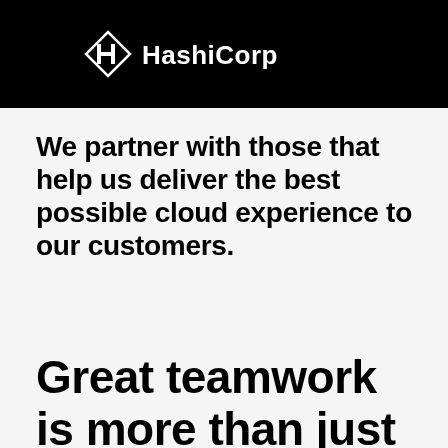[Figure (logo): HashiCorp logo — white diamond-shaped icon with stylized 'H' and white wordmark 'HashiCorp' on black background]
We partner with those that help us deliver the best possible cloud experience to our customers.
Great teamwork is more than just